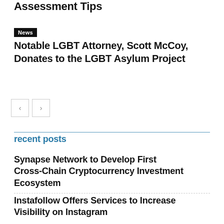Assessment Tips
News
Notable LGBT Attorney, Scott McCoy, Donates to the LGBT Asylum Project
← →
recent posts
Synapse Network to Develop First Cross-Chain Cryptocurrency Investment Ecosystem
Instafollow Offers Services to Increase Visibility on Instagram